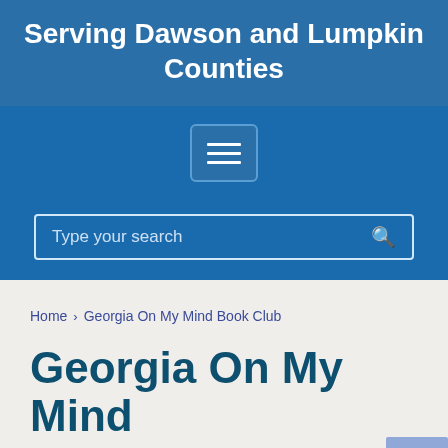Serving Dawson and Lumpkin Counties
[Figure (screenshot): Navigation hamburger menu button (three horizontal lines) on blue background]
[Figure (screenshot): Search bar with placeholder text 'Type your search' and magnifying glass icon on blue background]
Home › Georgia On My Mind Book Club
Georgia On My Mind Book Club